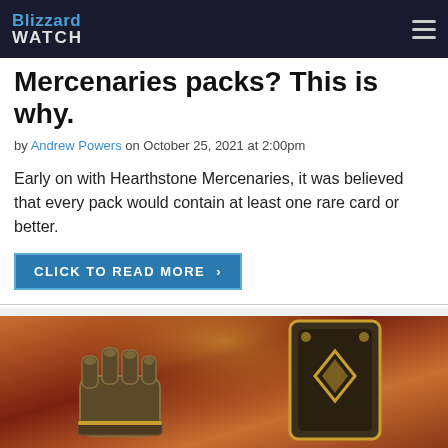Blizzard Watch
Mercenaries packs? This is why.
by Andrew Powers on October 25, 2021 at 2:00pm
Early on with Hearthstone Mercenaries, it was believed that every pack would contain at least one rare card or better.
Click to read more >
[Figure (illustration): Hearthstone Mercenaries promotional artwork showing armored fists and a card with a gold diamond symbol on a fiery orange background]